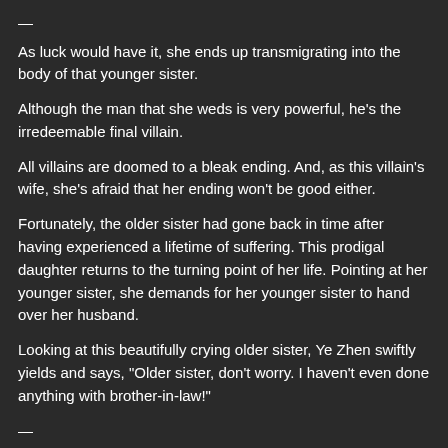—
As luck would have it, she ends up transmigrating into the body of that younger sister.
Although the man that she weds is very powerful, he's the irredeemable final villain.
All villains are doomed to a bleak ending. And, as this villain's wife, she's afraid that her ending won't be good either.
Fortunately, the older sister had gone back in time after having experienced a lifetime of suffering. This prodigal daughter returns to the turning point of her life. Pointing at her younger sister, she demands for her younger sister to hand over her husband.
Looking at this beautifully crying older sister, Ye Zhen swiftly yields and says, "Older sister, don't worry. I haven't even done anything with brother-in-law!"
—